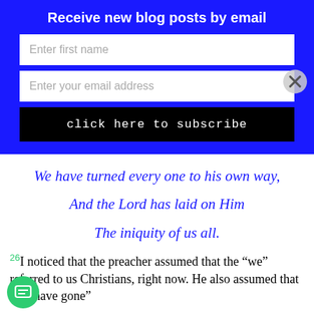Receive new blog posts by email
Enter first name
Enter your email address
click here to subscribe
We have turned every one to his own way,
And the Lord has laid on Him
The iniquity of us all.
26I noticed that the preacher assumed that the “we” referred to us Christians, right now. He also assumed that the “have gone”